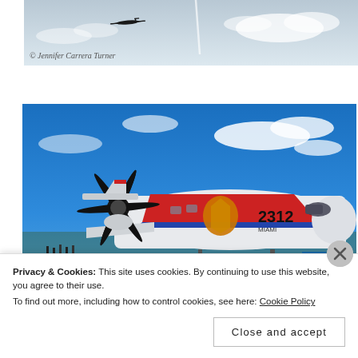[Figure (photo): Aerial photo showing a small aircraft silhouette against a cloudy sky with a contrail visible]
© Jennifer Carrera Turner
[Figure (photo): U.S. Coast Guard aircraft number 2312 MIAMI on the tarmac at an airshow, featuring red and blue stripe livery with large black propeller in foreground and crowd visible behind]
Privacy & Cookies: This site uses cookies. By continuing to use this website, you agree to their use.
To find out more, including how to control cookies, see here: Cookie Policy
Close and accept